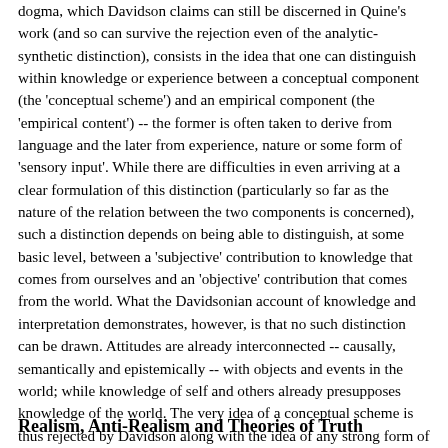dogma, which Davidson claims can still be discerned in Quine's work (and so can survive the rejection even of the analytic-synthetic distinction), consists in the idea that one can distinguish within knowledge or experience between a conceptual component (the 'conceptual scheme') and an empirical component (the 'empirical content') -- the former is often taken to derive from language and the later from experience, nature or some form of 'sensory input'. While there are difficulties in even arriving at a clear formulation of this distinction (particularly so far as the nature of the relation between the two components is concerned), such a distinction depends on being able to distinguish, at some basic level, between a 'subjective' contribution to knowledge that comes from ourselves and an 'objective' contribution that comes from the world. What the Davidsonian account of knowledge and interpretation demonstrates, however, is that no such distinction can be drawn. Attitudes are already interconnected -- causally, semantically and epistemically -- with objects and events in the world; while knowledge of self and others already presupposes knowledge of the world. The very idea of a conceptual scheme is thus rejected by Davidson along with the idea of any strong form of conceptual relativism. To possess attitudes and be capable of speech is already to be capable of interpreting others and to be open to interpretation by them.
Realism, Anti-Realism and Theories of Truth